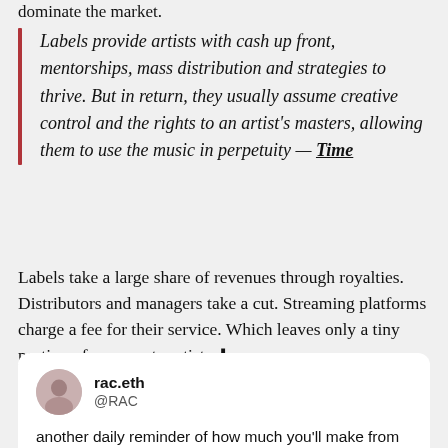dominate the market.
Labels provide artists with cash up front, mentorships, mass distribution and strategies to thrive. But in return, they usually assume creative control and the rights to an artist's masters, allowing them to use the music in perpetuity — Time
Labels take a large share of revenues through royalties. Distributors and managers take a cut. Streaming platforms charge a fee for their service. Which leaves only a tiny portion of revenue to artists ↓
rac.eth @RAC another daily reminder of how much you'll make from streaming services for 1 million plays.